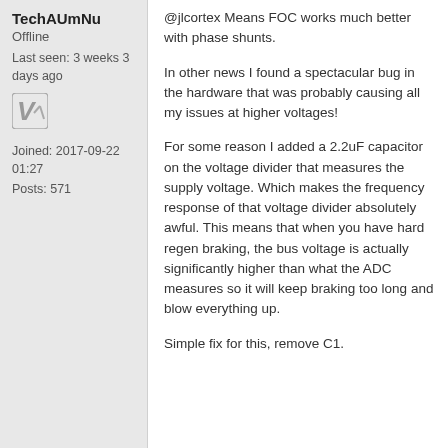TechAUmNu
Offline
Last seen: 3 weeks 3 days ago
[Figure (logo): VESC logo / checkmark icon]
Joined: 2017-09-22 01:27
Posts: 571
@jlcortex Means FOC works much better with phase shunts.
In other news I found a spectacular bug in the hardware that was probably causing all my issues at higher voltages!
For some reason I added a 2.2uF capacitor on the voltage divider that measures the supply voltage. Which makes the frequency response of that voltage divider absolutely awful. This means that when you have hard regen braking, the bus voltage is actually significantly higher than what the ADC measures so it will keep braking too long and blow everything up.
Simple fix for this, remove C1.